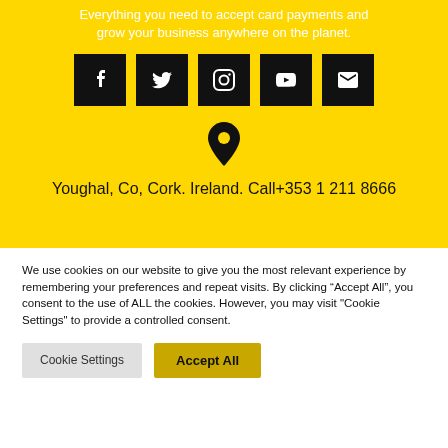Everything you need to accept card payments and grow your business anywhere on the planet.
[Figure (other): Row of 5 social media icon buttons (Facebook, Twitter, Instagram, YouTube, Email) on black square backgrounds on yellow background]
[Figure (other): Location pin icon in black on yellow background]
Youghal, Co, Cork. Ireland. Call+353 1 211 8666
We use cookies on our website to give you the most relevant experience by remembering your preferences and repeat visits. By clicking “Accept All”, you consent to the use of ALL the cookies. However, you may visit "Cookie Settings" to provide a controlled consent.
Cookie Settings | Accept All